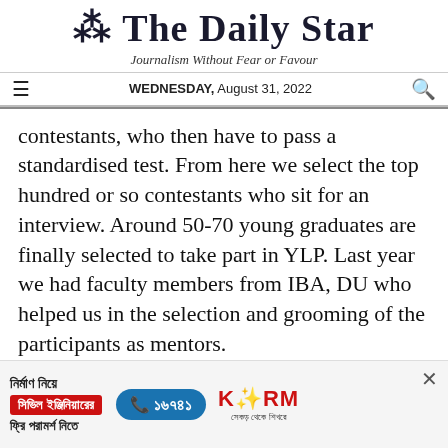The Daily Star
Journalism Without Fear or Favour
WEDNESDAY, August 31, 2022
contestants, who then have to pass a standardised test. From here we select the top hundred or so contestants who sit for an interview. Around 50-70 young graduates are finally selected to take part in YLP. Last year we had faculty members from IBA, DU who helped us in the selection and grooming of the participants as mentors.
[Figure (other): Advertisement banner for KSRM construction services featuring Bengali text 'নির্মাণ নিয়ে সিভিল ইঞ্জিনিয়ারের ফ্রি পরামর্শ নিতে', phone number ১৬৭৪১, and KSRM logo]